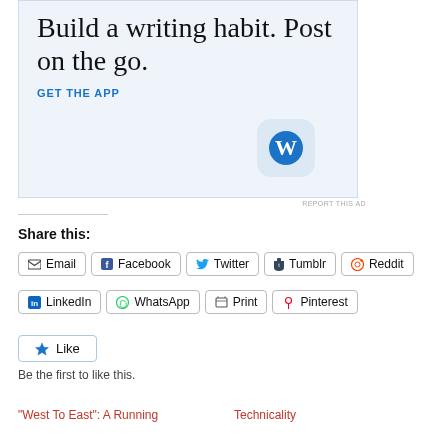[Figure (illustration): WordPress app advertisement banner with light blue background. Large serif text reads 'Build a writing habit. Post on the go.' with a blue 'GET THE APP' link and WordPress logo icon in bottom right.]
REPORT THIS AD
Share this:
Email  Facebook  Twitter  Tumblr  Reddit  LinkedIn  WhatsApp  Print  Pinterest
Like
Be the first to like this.
“West To East”: A Running
Technicality